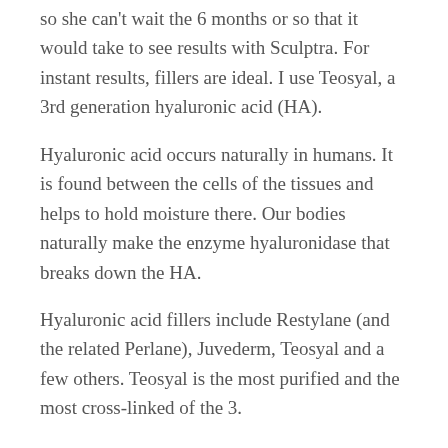so she can't wait the 6 months or so that it would take to see results with Sculptra. For instant results, fillers are ideal. I use Teosyal, a 3rd generation hyaluronic acid (HA).
Hyaluronic acid occurs naturally in humans. It is found between the cells of the tissues and helps to hold moisture there. Our bodies naturally make the enzyme hyaluronidase that breaks down the HA.
Hyaluronic acid fillers include Restylane (and the related Perlane), Juvederm, Teosyal and a few others. Teosyal is the most purified and the most cross-linked of the 3.
Purity is important because it reduces the likelihood of reactions to the filler. The more cross-linked a product is, the longer it will last because the body breaks down the HA by attacking the cross-links.